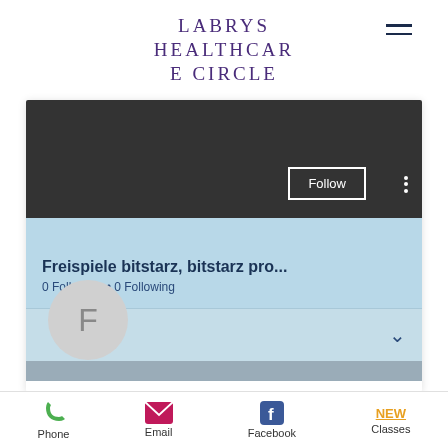LABRYS HEALTHCARE CIRCLE
[Figure (screenshot): A social/community profile page screenshot showing a profile with avatar 'F', name 'Freispiele bitstarz, bitstarz pro...', 0 Followers, 0 Following, with Follow button and navigation icons for Phone, Email, Facebook, and Classes (NEW).]